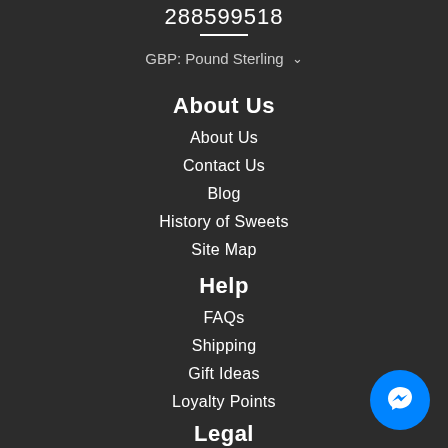288599518
About Us
About Us
Contact Us
Blog
History of Sweets
Site Map
Help
FAQs
Shipping
Gift Ideas
Loyalty Points
Legal
[Figure (illustration): Blue circular Messenger chat button in bottom-right corner]